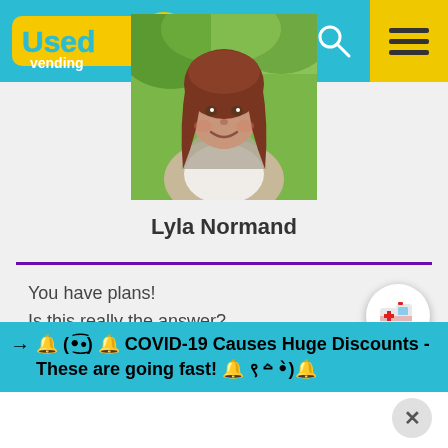[Figure (logo): Used Vending logo with cartoon bird on cyan/teal navigation bar]
[Figure (photo): Portrait photo of a young woman with reddish-brown hair smiling outdoors, green trees in background]
Lyla Normand
You have plans!
Is this really the answer?
→ 🔔 (•͜͡•) 🔔 COVID-19 Causes Huge Discounts - These are going fast! 🔔 ९꒫•̀)🔔